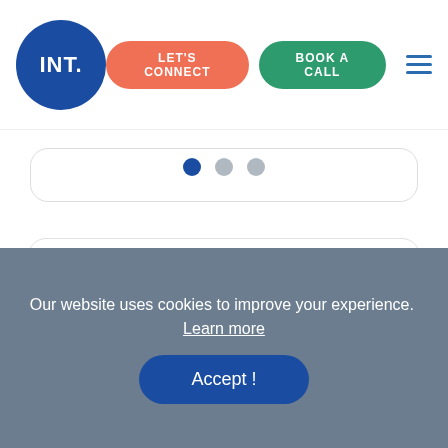INT. | LET'S CONNECT | BOOK A CALL
[Figure (screenshot): Pagination dots: one active blue dot and two inactive gray dots]
Popular Posts
Decoding Top 5 Types Of Fintech Applications
6 views per day
How to Develop a Keen Sense
6 views per day
How To Build a New
Our website uses cookies to improve your experience. Learn more
Accept !